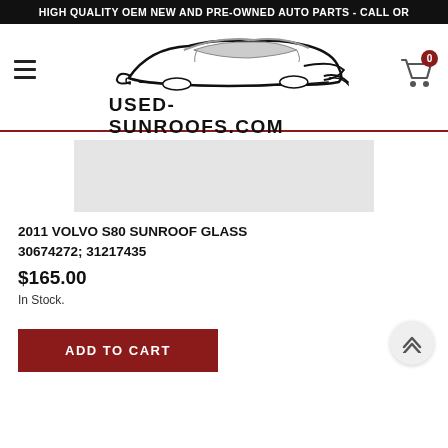HIGH QUALITY OEM NEW AND PRE-OWNED AUTO PARTS - CALL OR
[Figure (logo): USED-SUNROOFS.COM logo with stylized car silhouette above the text]
[Figure (photo): Product image placeholder for 2011 Volvo S80 Sunroof Glass (grey box)]
2011 VOLVO S80 SUNROOF GLASS 30674272; 31217435
$165.00
In Stock.
ADD TO CART